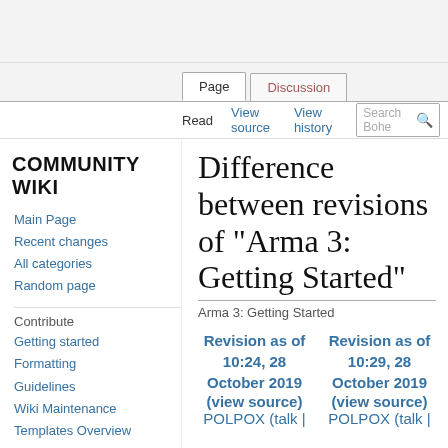Community Wiki
Page | Discussion | Read | View source | View history
Difference between revisions of "Arma 3: Getting Started"
Arma 3: Getting Started
Revision as of 10:24, 28 October 2019 (view source) POLPOX (talk |
Revision as of 10:29, 28 October 2019 (view source) POLPOX (talk |
Main Page
Recent changes
All categories
Random page
Contribute
Getting started
Formatting
Guidelines
Wiki Maintenance
Templates Overview
MediaWiki help